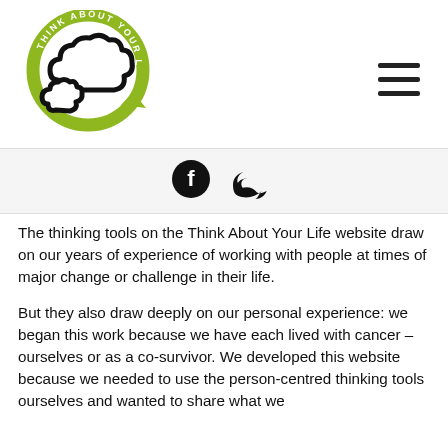[Figure (logo): Think About Your Life logo: a circular green arrow with cloud/thought bubble shapes and text 'THINK ABOUT YOUR LIFE' around the circle]
[Figure (other): Hamburger menu icon (three horizontal lines)]
[Figure (other): Social media icons: Facebook and Twitter]
The thinking tools on the Think About Your Life website draw on our years of experience of working with people at times of major change or challenge in their life.
But they also draw deeply on our personal experience: we began this work because we have each lived with cancer – ourselves or as a co-survivor. We developed this website because we needed to use the person-centred thinking tools ourselves and wanted to share what we